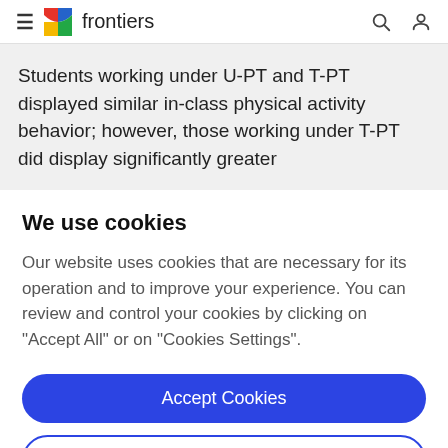≡  frontiers
Students working under U-PT and T-PT displayed similar in-class physical activity behavior; however, those working under T-PT did display significantly greater
We use cookies
Our website uses cookies that are necessary for its operation and to improve your experience. You can review and control your cookies by clicking on "Accept All" or on "Cookies Settings".
Accept Cookies
Cookies Settings